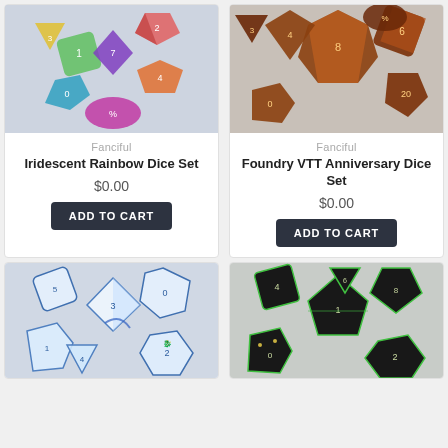[Figure (photo): Iridescent rainbow polyhedral dice set scattered on a grey background]
Fanciful
Iridescent Rainbow Dice Set
$0.00
ADD TO CART
[Figure (photo): Foundry VTT anniversary edition polyhedral dice set with amber/fire coloring scattered on grey background]
Fanciful
Foundry VTT Anniversary Dice Set
$0.00
ADD TO CART
[Figure (photo): Clear/white polyhedral dice with blue dragon artwork scattered on a light grey background]
[Figure (photo): Black polyhedral dice with green trim and gold numbering scattered on a light grey background]